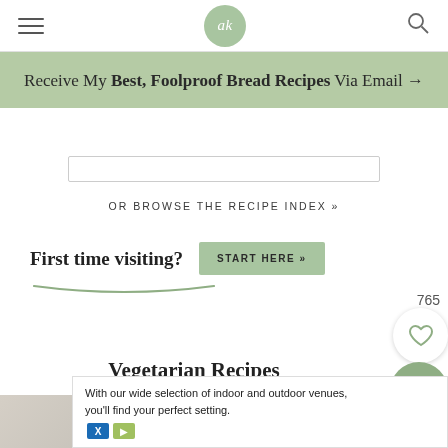ak
Receive My Best, Foolproof Bread Recipes Via Email →
OR BROWSE THE RECIPE INDEX »
First time visiting?   START HERE »
Vegetarian Recipes
[Figure (photo): Two food recipe thumbnail images side by side, partially visible]
With our wide selection of indoor and outdoor venues, you'll find your perfect setting.